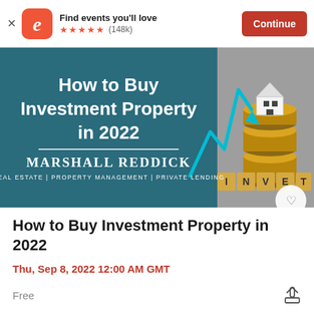Find events you'll love ★★★★★ (148k) Continue
[Figure (illustration): Event banner image for 'How to Buy Investment Property in 2022' by Marshall Reddick Real Estate | Property Management | Private Lending, showing coins stack and investment graphic with INVEST blocks]
How to Buy Investment Property in 2022
Thu, Sep 8, 2022 12:00 AM GMT
Free